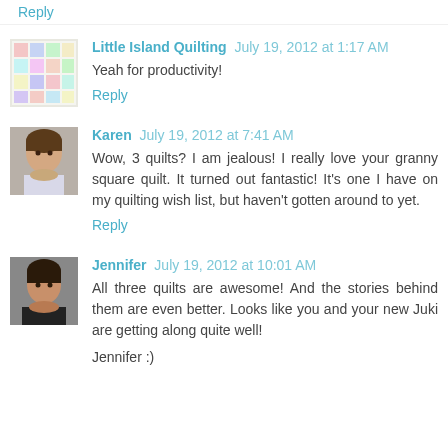Reply
Little Island Quilting July 19, 2012 at 1:17 AM
Yeah for productivity!
Reply
Karen July 19, 2012 at 7:41 AM
Wow, 3 quilts? I am jealous! I really love your granny square quilt. It turned out fantastic! It's one I have on my quilting wish list, but haven't gotten around to yet.
Reply
Jennifer July 19, 2012 at 10:01 AM
All three quilts are awesome! And the stories behind them are even better. Looks like you and your new Juki are getting along quite well!
Jennifer :)